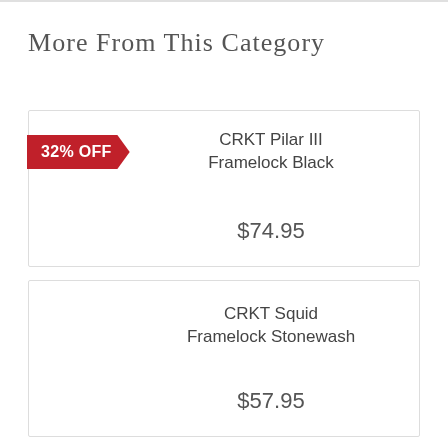More From This Category
32% OFF
CRKT Pilar III Framelock Black
$74.95
CRKT Squid Framelock Stonewash
$57.95
CRKT M16 Big Dog Special Forces Tactical Knife
$148.95